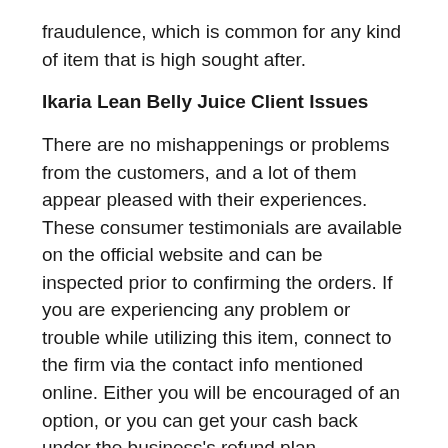fraudulence, which is common for any kind of item that is high sought after.
Ikaria Lean Belly Juice Client Issues
There are no mishappenings or problems from the customers, and a lot of them appear pleased with their experiences. These consumer testimonials are available on the official website and can be inspected prior to confirming the orders. If you are experiencing any problem or trouble while utilizing this item, connect to the firm via the contact info mentioned online. Either you will be encouraged of an option, or you can get your cash back under the business's refund plan.